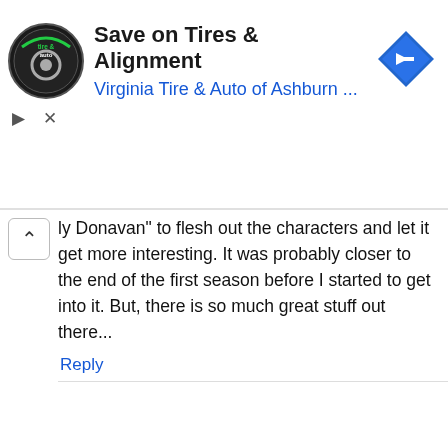[Figure (screenshot): Advertisement banner for 'Virginia Tire & Auto of Ashburn' with circular logo, headline 'Save on Tires & Alignment', blue subtitle 'Virginia Tire & Auto of Ashburn...', and a blue diamond-shaped arrow icon on the right.]
ly Donavan" to flesh out the characters and let it get more interesting. It was probably closer to the end of the first season before I started to get into it. But, there is so much great stuff out there...
Reply
This website uses cookies to ensure you get the best experience on our website.
Learn more
Got it!
28AM
I've watched 10:11. I'm generally not a fan of war